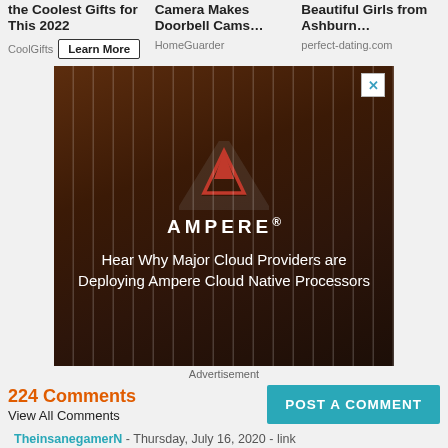the Coolest Gifts for This 2022
Camera Makes Doorbell Cams…
Beautiful Girls from Ashburn…
CoolGifts  Learn More
HomeGuarder
perfect-dating.com
[Figure (screenshot): Ampere advertisement banner with dark brown/amber server background. Red triangular Ampere logo at top, white text reading 'AMPERE.' and tagline 'Hear Why Major Cloud Providers are Deploying Ampere Cloud Native Processors'. X close button in top right corner.]
Advertisement
224 Comments
View All Comments
POST A COMMENT
TheinsanegamerN - Thursday, July 16, 2020 - link
If tiger late is as impressive as ice lake the ryzen 4700u will retain a significant advantage in performance, and I'll believe